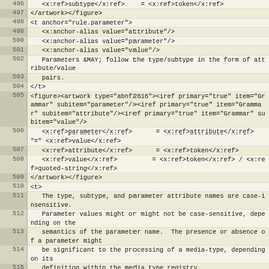Code listing lines 495-518 showing XML/ABNF grammar source
496: <x:ref>subtype</x:ref>    = <x:ref>token</x:ref>
497: </artwork></figure>
498: <t anchor="rule.parameter">
498:     <x:anchor-alias value="attribute"/>
500:     <x:anchor-alias value="parameter"/>
501:     <x:anchor-alias value="value"/>
502:     Parameters &MAY; follow the type/subtype in the form of attribute/value
503:     pairs.
504: </t>
505: <figure><artwork type="abnf2616"><iref primary="true" item="Grammar" subitem="parameter"/><iref primary="true" item="Grammar" subitem="attribute"/><iref primary="true" item="Grammar" subitem="value"/>
506:     <x:ref>parameter</x:ref>      = <x:ref>attribute</x:ref> "=" <x:ref>value</x:ref>
507:     <x:ref>attribute</x:ref>      = <x:ref>token</x:ref>
508:     <x:ref>value</x:ref>          = <x:ref>token</x:ref> / <x:ref>quoted-string</x:ref>
509: </artwork></figure>
510: <t>
511:     The type, subtype, and parameter attribute names are case-insensitive.
512:     Parameter values might or might not be case-sensitive, depending on the
513:     semantics of the parameter name.  The presence or absence of a parameter might
514:     be significant to the processing of a media-type, depending on its
515:     definition within the media type registry.
516: </t>
517: <t>
518:     A parameter value that matches the